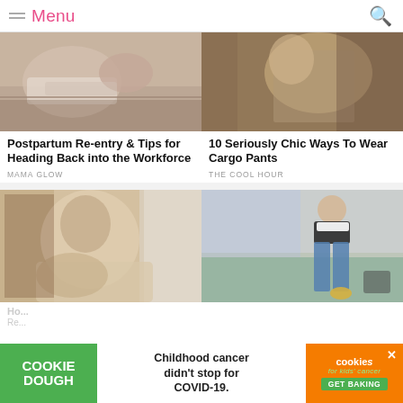Menu
[Figure (photo): Woman lying in bed with newborn baby, postpartum scene]
[Figure (photo): Woman wearing floral cargo pants, sitting on ornate chair]
Postpartum Re-entry & Tips for Heading Back into the Workforce
MAMA GLOW
10 Seriously Chic Ways To Wear Cargo Pants
THE COOL HOUR
[Figure (photo): Woman sitting by window nursing or holding infant]
[Figure (photo): Woman in black jacket and jeans standing outdoors with yellow bag]
Ho...
Re...
[Figure (infographic): Cookie Dough advertisement: Childhood cancer didn't stop for COVID-19. Cookies for Kids Cancer. GET BAKING.]